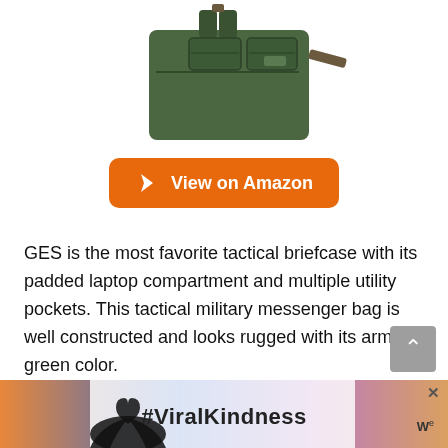[Figure (photo): Green military tactical messenger bag / briefcase with multiple pockets and shoulder strap, photographed on white background]
[Figure (other): Orange 'View on Amazon' button with cursor/arrow icon]
GES is the most favorite tactical briefcase with its padded laptop compartment and multiple utility pockets. This tactical military messenger bag is well constructed and looks rugged with its army green color.
There is plenty of space and little pockets all around. I believe that the padded sleeve can fit a 15.6-inch laptop and be secured well with an internal anti-collision isol... at
[Figure (infographic): #ViralKindness advertisement banner with silhouetted hands forming a heart shape against a colorful sky background, close button (X), and small logo on the right]